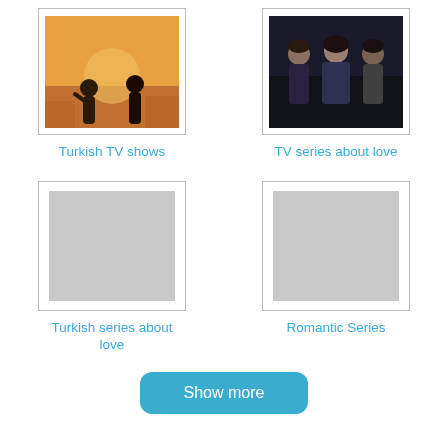[Figure (photo): Two people silhouetted against a warm sunset, representing Turkish TV shows]
Turkish TV shows
[Figure (photo): Group of people posing in dark clothing, representing TV series about love]
TV series about love
[Figure (photo): Gray placeholder image for Turkish series about love]
Turkish series about love
[Figure (photo): Gray placeholder image for Romantic Series]
Romantic Series
Show more